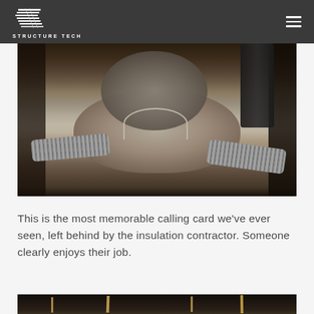STRUCTURE TECH
[Figure (photo): Attic interior showing blown-in insulation with HVAC ductwork. An insulation contractor appears to have shaped the loose insulation into a sculptural form (face/creature) as a calling card. Silver flex duct visible on both sides.]
This is the most memorable calling card we've ever seen, left behind by the insulation contractor. Someone clearly enjoys their job.
[Figure (photo): Partial view of attic framing and wood structural members, dark interior.]